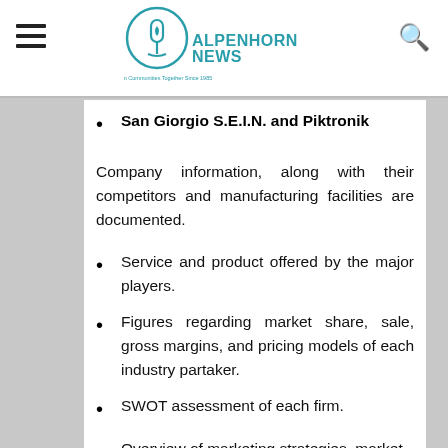ALPENHORNNEWS — Bringing Our Mountain Communities Together Since 1985
San Giorgio S.E.I.N.  and   Piktronik
Company information, along with their competitors and manufacturing facilities are documented.
Service and product offered by the major players.
Figures regarding market share, sale, gross margins, and pricing models of each industry partaker.
SWOT assessment of each firm.
Overview of marketing strategies, market